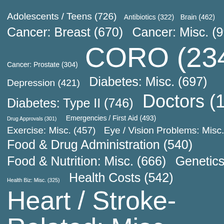[Figure (infographic): Word cloud / tag cloud of medical health topics with counts, displayed on a teal/slate background. Font size of each tag is proportional to its count.]